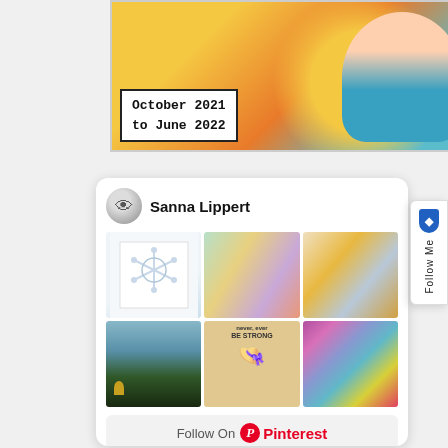[Figure (illustration): Comic-style illustration with pop-art woman and text 'October 2021 to June 2022']
[Figure (screenshot): Pinterest widget card showing Sanna Lippert profile with avatar, 6 craft/art image thumbnails in a 3x2 grid, and a Follow On Pinterest button]
[Figure (illustration): Side tab showing shield icon and 'Follow Me' vertical text]